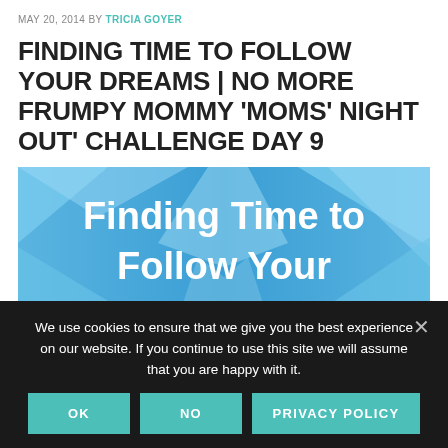MAY 20, 2014 BY TRICIA GOYER
FINDING TIME TO FOLLOW YOUR DREAMS | NO MORE FRUMPY MOMMY 'MOMS' NIGHT OUT' CHALLENGE DAY 9
[Figure (illustration): Blue geometric patterned banner image with white bold text reading 'Finding Time to Follow Your' (rest cropped)]
We use cookies to ensure that we give you the best experience on our website. If you continue to use this site we will assume that you are happy with it.